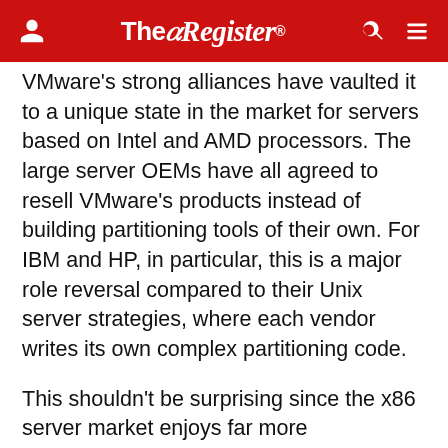The Register
VMware's strong alliances have vaulted it to a unique state in the market for servers based on Intel and AMD processors. The large server OEMs have all agreed to resell VMware's products instead of building partitioning tools of their own. For IBM and HP, in particular, this is a major role reversal compared to their Unix server strategies, where each vendor writes its own complex partitioning code.
This shouldn't be surprising since the x86 server market enjoys far more standardization than the RISC and Itanium market. The whole idea is to keep software costs as low as possible, since the x86 space is largely a commodity market.
The downside of VMware...